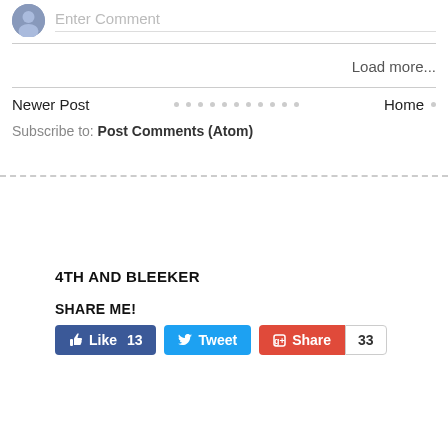Enter Comment
Load more...
Newer Post
Home
Subscribe to: Post Comments (Atom)
4TH AND BLEEKER
SHARE ME!
Like 13  Tweet  Share  33